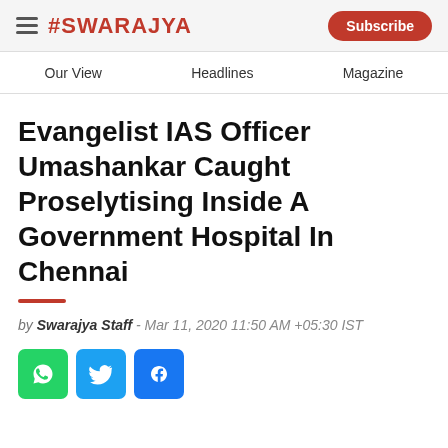#SWARAJYA
Our View | Headlines | Magazine
Evangelist IAS Officer Umashankar Caught Proselytising Inside A Government Hospital In Chennai
by Swarajya Staff - Mar 11, 2020 11:50 AM +05:30 IST
[Figure (other): Social share buttons: WhatsApp (green), Twitter (blue), Facebook (dark blue)]